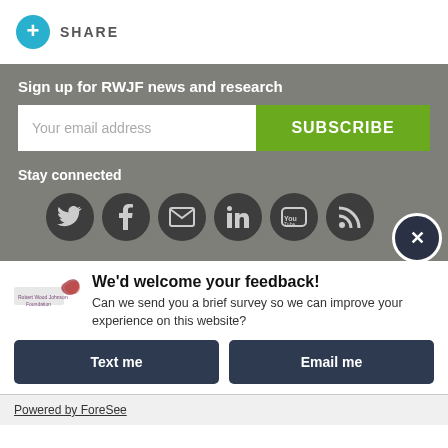[Figure (infographic): Teal circle with white plus sign, followed by SHARE text in gray letters]
Sign up for RWJF news and research
Your email address
SUBSCRIBE
Stay connected
[Figure (infographic): Six dark gray circular social media icons: Twitter, Facebook, Email, LinkedIn, YouTube, RSS feed]
We'd welcome your feedback!
Can we send you a brief survey so we can improve your experience on this website?
Text me
Email me
Powered by ForeSee